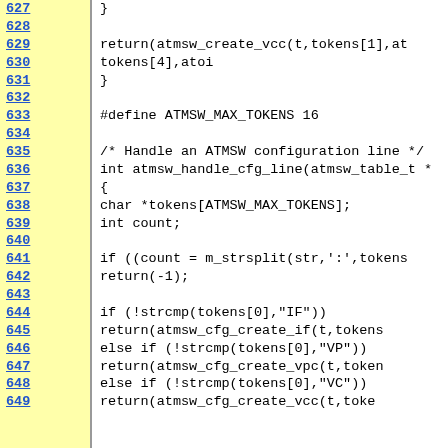[Figure (screenshot): Source code viewer showing C code lines 627-649 with line numbers highlighted in yellow on the left and code on the right. Code includes atmsw_create_vcc, #define ATMSW_MAX_TOKENS, atmsw_handle_cfg_line function with char *tokens, int count, if/else if blocks for strcmp on tokens[0] for IF, VP, VC.]